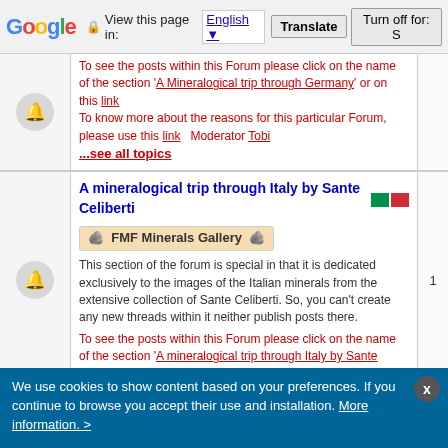Google Translate bar — View this page in: English | Translate | Turn off for: S
To see the posts within this Forum please click on the name of the section 'A Mineralogical trip through Germany' or on this link. To know more about the reasons for this particular Forum, please use this link   Moderator Tobi
...see all topics
A mineralogical trip through Italy by Sante Celiberti
[Figure (illustration): FMF Minerals Gallery banner with mineral icons]
This section of the forum is special in that it is dedicated exclusively to the images of the Italian minerals from the extensive collection of Sante Celiberti. So, you can't create any new threads within it neither publish posts there.
To see the posts within this Forum please click on the name of the section 'A mineralogical trip through Italy by Sante Celiberti' or on this link   Moderator Sante Celiberti
Conserving, Preparing and Cleaning Minerals
This Forum brings together questions and results on the delicate subject of preparation, conservation and cleaning of the minerals.
Moderators Jordi Fabre, chris, Antonio Alcaide, cascaillou
| Topic | Author | Date | Replies/Views |
| --- | --- | --- | --- |
| Linarite or azurite | (Gregor) | Jul 12, 2021 14:52 | Replies: 5 Views: 6410 |
Jun
We use cookies to show content based on your preferences. If you continue to browse you accept their use and installation. More information. >